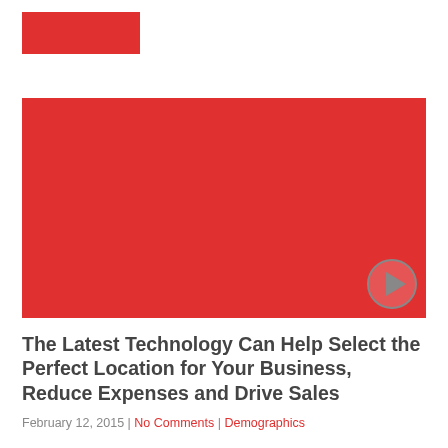[Figure (logo): Red rectangular logo block]
[Figure (photo): Large red rectangular image placeholder for article hero image]
The Latest Technology Can Help Select the Perfect Location for Your Business, Reduce Expenses and Drive Sales
February 12, 2015 | No Comments | Demographics